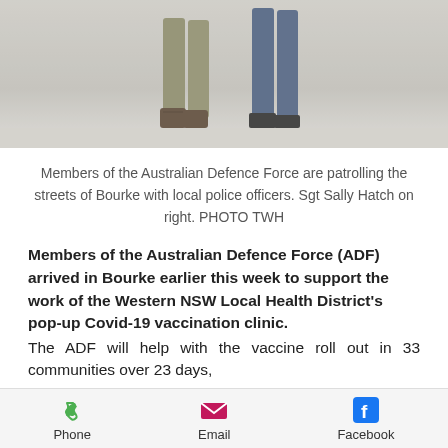[Figure (photo): Cropped photo showing legs/boots of two people standing – one in military/khaki trousers on left, one in blue trousers on right, on a light background.]
Members of the Australian Defence Force are patrolling the streets of Bourke with local police officers. Sgt Sally Hatch on right. PHOTO TWH
Members of the Australian Defence Force (ADF) arrived in Bourke earlier this week to support the work of the Western NSW Local Health District's pop-up Covid-19 vaccination clinic. The ADF will help with the vaccine roll out in 33 communities over 23 days,
Phone   Email   Facebook